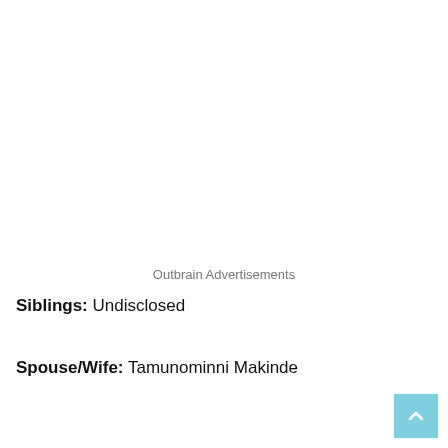Outbrain Advertisements
Siblings: Undisclosed
Spouse/Wife: Tamunominni Makinde